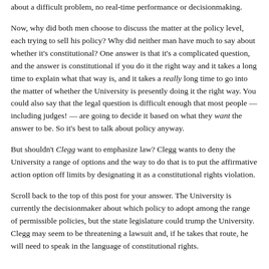about a difficult problem, no real-time performance or decisionmaking.
Now, why did both men choose to discuss the matter at the policy level, each trying to sell his policy? Why did neither man have much to say about whether it's constitutional? One answer is that it's a complicated question, and the answer is constitutional if you do it the right way and it takes a long time to explain what that way is, and it takes a really long time to go into the matter of whether the University is presently doing it the right way. You could also say that the legal question is difficult enough that most people — including judges! — are going to decide it based on what they want the answer to be. So it's best to talk about policy anyway.
But shouldn't Clegg want to emphasize law? Clegg wants to deny the University a range of options and the way to do that is to put the affirmative action option off limits by designating it as a constitutional rights violation.
Scroll back to the top of this post for your answer. The University is currently the decisionmaker about which policy to adopt among the range of permissible policies, but the state legislature could trump the University. Clegg may seem to be threatening a lawsuit and, if he takes that route, he will need to speak in the language of constitutional rights.